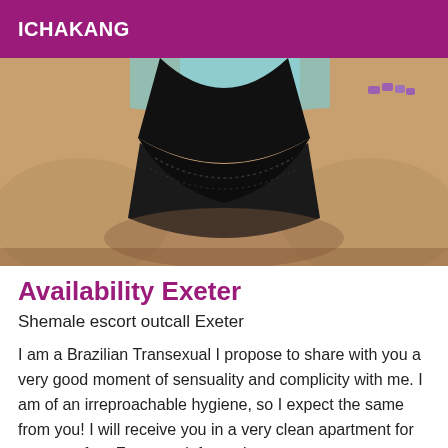ICHAKANG
[Figure (photo): Close-up photo of a person wearing black underwear/swimwear against a light blue background, with manicured purple nails visible]
Availability Exeter
Shemale escort outcall Exeter
I am a Brazilian Transexual I propose to share with you a very good moment of sensuality and complicity with me. I am of an irreproachable hygiene, so I expect the same from you! I will receive you in a very clean apartment for your comfort. For more information